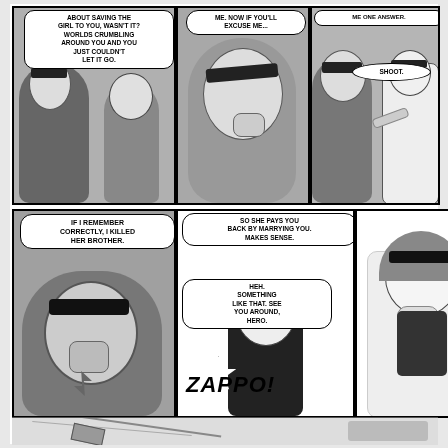[Figure (illustration): Comic page with 6 panels showing two characters in conversation. Top row: Panel 1 shows character with long white hair and dark visor speaking about saving a girl. Panel 2 shows close-up of same character. Panel 3 shows two characters, one pointing. Bottom row: Panel 4 shows character saying they killed her brother. Panel 5 shows character saying she pays back by marrying him, with ZAPPO sound effect. Panel 6 shows character in white coat thinking.]
ABOUT SAVING THE GIRL TO YOU, WASN'T IT? WORLDS CRUMBLING AROUND YOU AND YOU JUST COULDN'T LET IT GO.
ME. NOW IF YOU'LL EXCUSE ME...
ME ONE ANSWER.
SHOOT.
IF I REMEMBER CORRECTLY, I KILLED HER BROTHER.
SO SHE PAYS YOU BACK BY MARRYING YOU. MAKES SENSE.
HEH. SOMETHING LIKE THAT. SEE YOU AROUND, HERO.
ZAPPO!